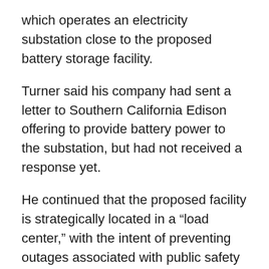which operates an electricity substation close to the proposed battery storage facility.
Turner said his company had sent a letter to Southern California Edison offering to provide battery power to the substation, but had not received a response yet.
He continued that the proposed facility is strategically located in a “load center,” with the intent of preventing outages associated with public safety power shutoffs, or PSPS events, that take electric lines off the grid due to conditions that increase the risk of wildfires.